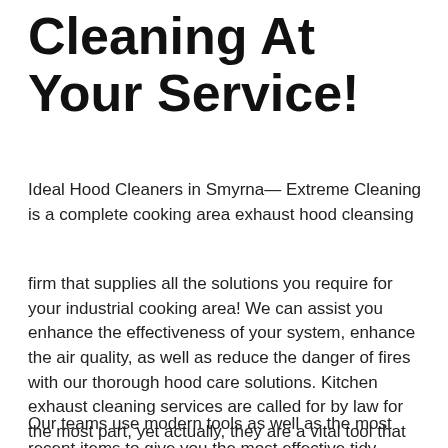Cleaning At Your Service!
Ideal Hood Cleaners in Smyrna— Extreme Cleaning is a complete cooking area exhaust hood cleansing
firm that supplies all the solutions you require for your industrial cooking area! We can assist you enhance the effectiveness of your system, enhance the air quality, as well as reduce the danger of fires with our thorough hood care solutions. Kitchen exhaust cleaning services are called for by law for the most part, yet actually, they are a vital tool that protects your company, your workers, as well as your customers.
Our teams use modern tools as well as the most recent items to give you the most effective tidy possible. When